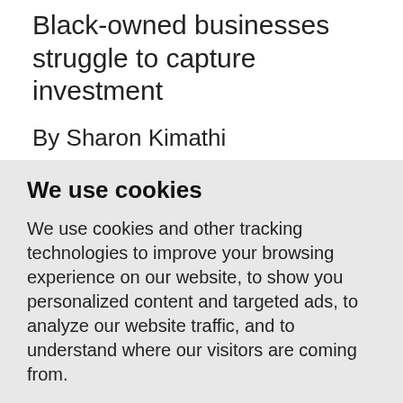Black-owned businesses struggle to capture investment
By Sharon Kimathi
LONDON, Dec 23 (Thomson Reuters Foundation) - British entrepreneur Jodi Vernon never intended to become a toy maker. But after her daughter Clarke was
We use cookies
We use cookies and other tracking technologies to improve your browsing experience on our website, to show you personalized content and targeted ads, to analyze our website traffic, and to understand where our visitors are coming from.